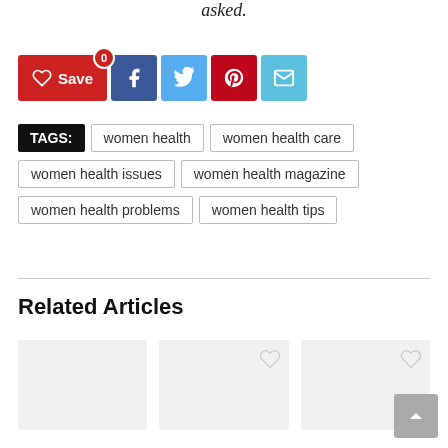asked.
[Figure (other): Social sharing buttons: Save (heart icon with 0 badge), Facebook, Twitter, Pinterest, Email]
TAGS: women health  women health care  women health issues  women health magazine  women health problems  women health tips
Related Articles
[Figure (other): Related articles section with two article card placeholders, each with a heart icon overlay]